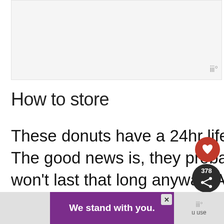[Figure (other): Top image placeholder area (recipe photo, grayed out)]
How to store
These donuts have a 24hr life, max. The good news is, they probably won't last that long anyway. After a day or so the cinnamon sugar into the dough and the whole thing ju u use
[Figure (other): UI overlay with heart button (378 likes) and share icon]
[Figure (other): What's Next widget showing Baked Strawberry...]
[Figure (other): Bottom banner: We stand with you. (purple/gray advertisement overlay with close button)]